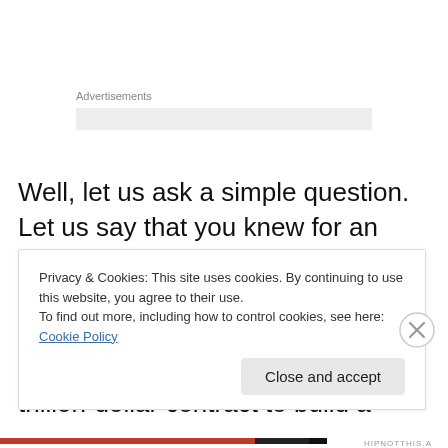Advertisements
Well, let us ask a simple question. Let us say that you knew for an absolute fact that in the competition between Lockheed-Martin, McDonnell Douglas and Boeing which one would be given a multi-trillion-dollar contract to build a
Privacy & Cookies: This site uses cookies. By continuing to use this website, you agree to their use.
To find out more, including how to control cookies, see here: Cookie Policy
Close and accept